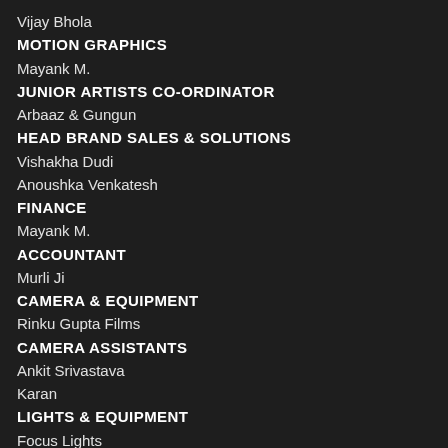Vijay Bhola
MOTION GRAPHICS
Mayank M.
JUNIOR ARTISTS CO-ORDINATOR
Arbaaz & Gungun
HEAD BRAND SALES & SOLUTIONS
Vishakha Dudi
Anoushka Venkatesh
FINANCE
Mayank M.
ACCOUNTANT
Murli Ji
CAMERA & EQUIPMENT
Rinku Gupta Films
CAMERA ASSISTANTS
Ankit Srivastava
Karan
LIGHTS & EQUIPMENT
Focus Lights